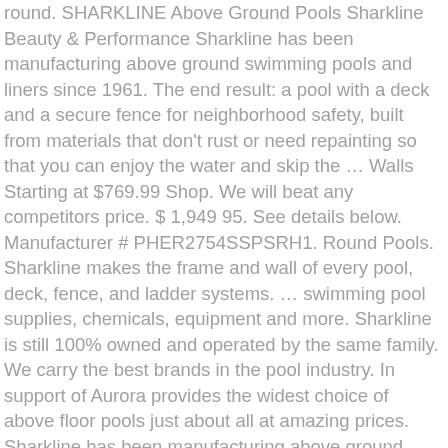round. SHARKLINE Above Ground Pools Sharkline Beauty & Performance Sharkline has been manufacturing above ground swimming pools and liners since 1961. The end result: a pool with a deck and a secure fence for neighborhood safety, built from materials that don't rust or need repainting so that you can enjoy the water and skip the ... Walls Starting at $769.99 Shop. We will beat any competitors price. $ 1,949 95. See details below. Manufacturer # PHER2754SSPSRH1. Round Pools. Sharkline makes the frame and wall of every pool, deck, fence, and ladder systems. ... swimming pool supplies, chemicals, equipment and more. Sharkline is still 100% owned and operated by the same family. We carry the best brands in the pool industry. In support of Aurora provides the widest choice of above floor pools just about all at amazing prices. Sharkline has been manufacturing above ground swimming pools and liners since 1961. The Pool Place in Abington MA. If you